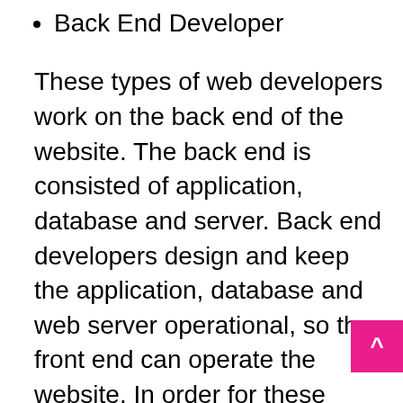Back End Developer
These types of web developers work on the back end of the website. The back end is consisted of application, database and server. Back end developers design and keep the application, database and web server operational, so the front end can operate the website. In order for these three mentioned components to communicate with each other, back end developers use programming languages such as Java, PHP, .Net, Python and Ruby for building the application. They also use specific tools like SQL and MySQL for fetching, storing and editing data, and their subsequent serving to the user in the front end.